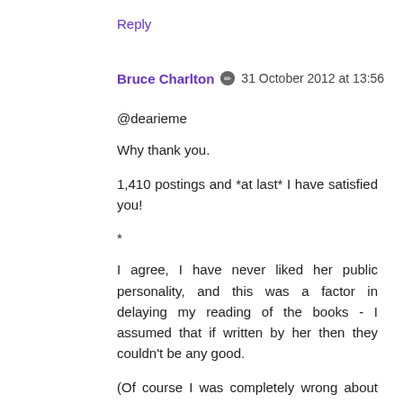Reply
Bruce Charlton ✏ 31 October 2012 at 13:56
@dearieme
Why thank you.
1,410 postings and *at last* I have satisfied you!
*
I agree, I have never liked her public personality, and this was a factor in delaying my reading of the books - I assumed that if written by her then they couldn't be any good.
(Of course I was completely wrong about that - they are much better than 'good'.)
Far too keen to paint herself the victim. I think many